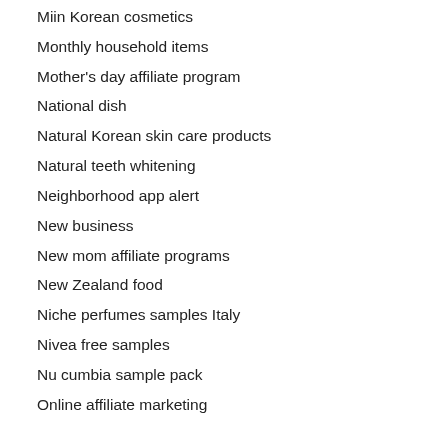Miin Korean cosmetics
Monthly household items
Mother's day affiliate program
National dish
Natural Korean skin care products
Natural teeth whitening
Neighborhood app alert
New business
New mom affiliate programs
New Zealand food
Niche perfumes samples Italy
Nivea free samples
Nu cumbia sample pack
Online affiliate marketing